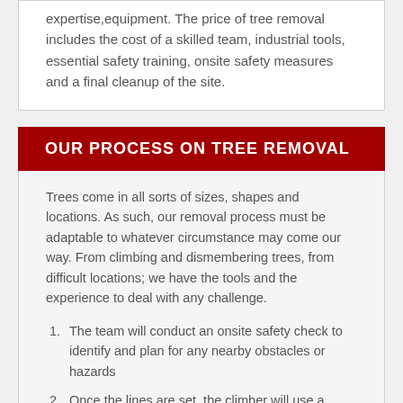expertise, equipment. The price of tree removal includes the cost of a skilled team, industrial tools, essential safety training, onsite safety measures and a final cleanup of the site.
OUR PROCESS ON TREE REMOVAL
Trees come in all sorts of sizes, shapes and locations. As such, our removal process must be adaptable to whatever circumstance may come our way. From climbing and dismembering trees, from difficult locations; we have the tools and the experience to deal with any challenge.
The team will conduct an onsite safety check to identify and plan for any nearby obstacles or hazards
Once the lines are set, the climber will use a chainsaw to slowly dismantle the tree, piece by piece, lowering the segments down to the ground crew
Once all branches and canopy have been removed, the climber will either dismantle the trunk from the top